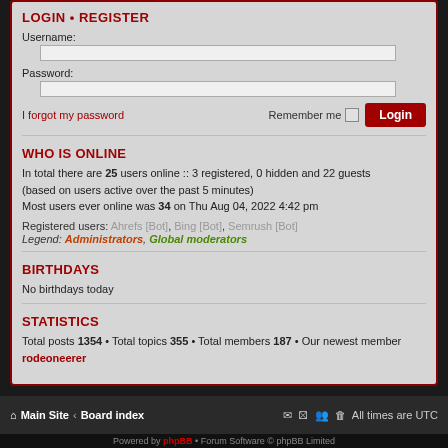LOGIN • REGISTER
Username:
Password:
I forgot my password
Remember me  Login
WHO IS ONLINE
In total there are 25 users online :: 3 registered, 0 hidden and 22 guests (based on users active over the past 5 minutes)
Most users ever online was 34 on Thu Aug 04, 2022 4:42 pm
Registered users: Ahrefs [Bot], Bing [Bot], Semrush [Bot]
Legend: Administrators, Global moderators
BIRTHDAYS
No birthdays today
STATISTICS
Total posts 1354 • Total topics 355 • Total members 187 • Our newest member rodeoneerer
Main Site  Board index   All times are UTC
Powered by phpBB • Forum Software © phpBB Limited